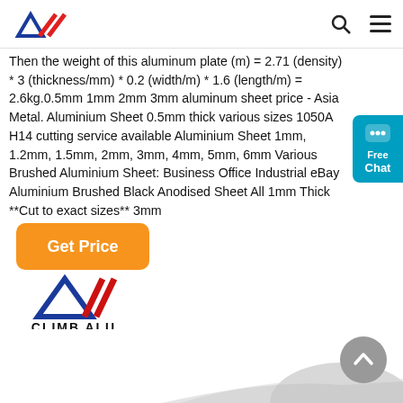Climb Alu logo and navigation icons
Then the weight of this aluminum plate (m) = 2.71 (density) * 3 (thickness/mm) * 0.2 (width/m) * 1.6 (length/m) = 2.6kg.0.5mm 1mm 2mm 3mm aluminum sheet price - Asia Metal. Aluminium Sheet 0.5mm thick various sizes 1050A H14 cutting service available Aluminium Sheet 1mm, 1.2mm, 1.5mm, 2mm, 3mm, 4mm, 5mm, 6mm Various Brushed Aluminium Sheet: Business Office Industrial eBay Aluminium Brushed Black Anodised Sheet All 1mm Thick **Cut to exact sizes** 3mm
[Figure (other): Free Chat widget button in cyan/blue]
[Figure (other): Orange Get Price button]
[Figure (logo): Climb Alu logo with mountain/triangle shape in blue and red, text CLIMB ALU below]
[Figure (photo): Partial view of aluminum sheet roll at bottom]
[Figure (other): Gray scroll-to-top circular button with upward chevron]